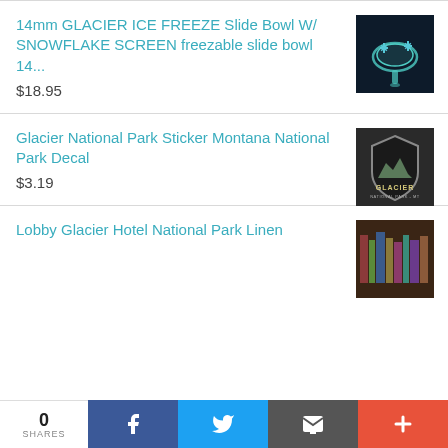14mm GLACIER ICE FREEZE Slide Bowl W/ SNOWFLAKE SCREEN freezable slide bowl 14...
$18.95
[Figure (photo): Product photo of a blue/teal freezable glass slide bowl]
Glacier National Park Sticker Montana National Park Decal
$3.19
[Figure (photo): Badge-shaped Glacier National Park sticker/decal with mountain scene]
Lobby Glacier Hotel National Park Linen
[Figure (photo): Product thumbnail image]
0 SHARES | Facebook share | Twitter share | Email share | More